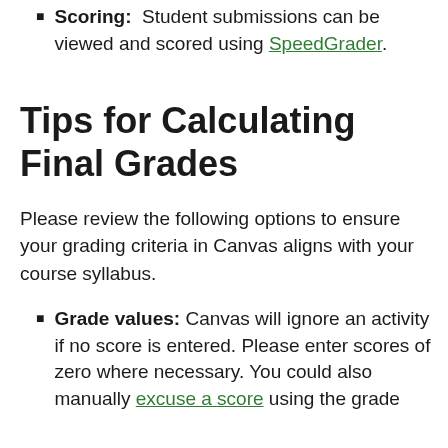Scoring: Student submissions can be viewed and scored using SpeedGrader.
Tips for Calculating Final Grades
Please review the following options to ensure your grading criteria in Canvas aligns with your course syllabus.
Grade values: Canvas will ignore an activity if no score is entered. Please enter scores of zero where necessary. You could also manually excuse a score using the grade